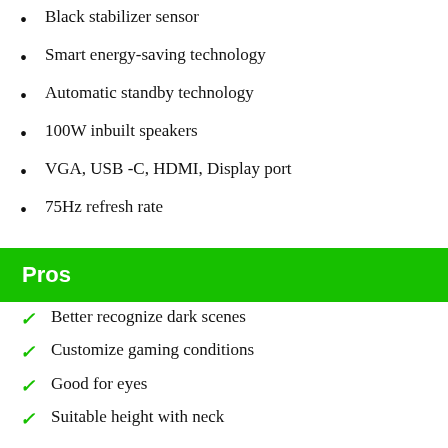Black stabilizer sensor
Smart energy-saving technology
Automatic standby technology
100W inbuilt speakers
VGA, USB -C, HDMI, Display port
75Hz refresh rate
Pros
Better recognize dark scenes
Customize gaming conditions
Good for eyes
Suitable height with neck